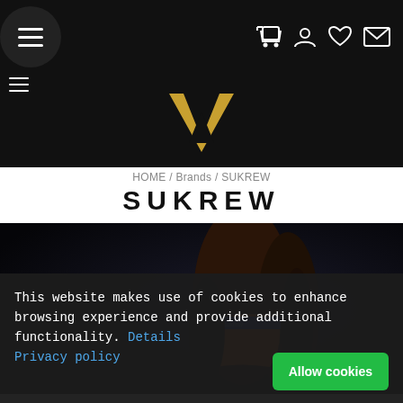Navigation bar with hamburger menu, cart, user, wishlist, and message icons
[Figure (logo): VA logo in gold/amber color on black background]
HOME / Brands / SUKREW
SUKREW
[Figure (photo): Model wearing orange SUKREW underwear with blue waistband against dark background]
SUKREW offers great value everyday cotton and polyamide men's underwear, taking the underwear market by storm with
This website makes use of cookies to enhance browsing experience and provide additional functionality. Details Privacy policy
Allow cookies